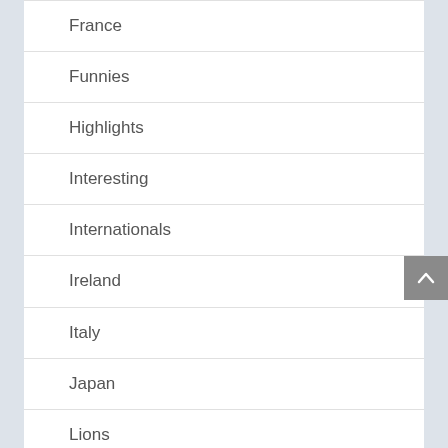France
Funnies
Highlights
Interesting
Internationals
Ireland
Italy
Japan
Lions